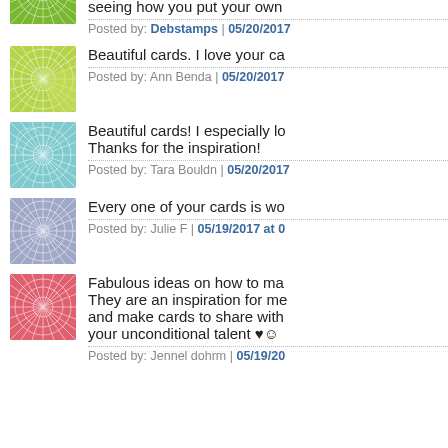seeing how you put your own
Posted by: Debstamps | 05/20/2017
[Figure (illustration): Square avatar with green geometric starburst/kaleidoscope pattern on green background]
Beautiful cards. I love your ca
Posted by: Ann Benda | 05/20/2017
[Figure (illustration): Square avatar with white geometric starburst pattern on light blue background]
Beautiful cards! I especially lo Thanks for the inspiration!
Posted by: Tara Bouldn | 05/20/2017
[Figure (illustration): Square avatar with geometric starburst pattern on medium blue/periwinkle background]
Every one of your cards is wo
Posted by: Julie F | 05/19/2017 at 0
[Figure (illustration): Square avatar with geometric starburst pattern on red/coral background]
Fabulous ideas on how to ma They are an inspiration for me and make cards to share with your unconditional talent ♥☺
Posted by: Jennel dohrm | 05/19/20